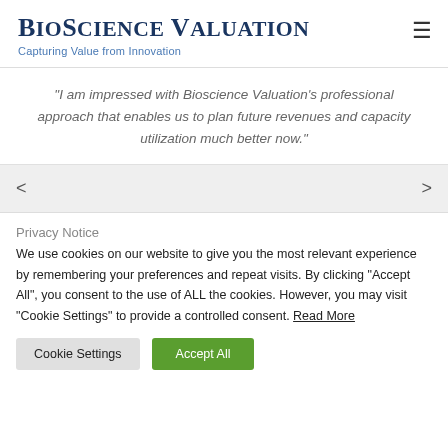BioScience Valuation
Capturing Value from Innovation
"I am impressed with Bioscience Valuation's professional approach that enables us to plan future revenues and capacity utilization much better now."
< >
Privacy Notice
We use cookies on our website to give you the most relevant experience by remembering your preferences and repeat visits. By clicking "Accept All", you consent to the use of ALL the cookies. However, you may visit "Cookie Settings" to provide a controlled consent. Read More
Cookie Settings | Accept All